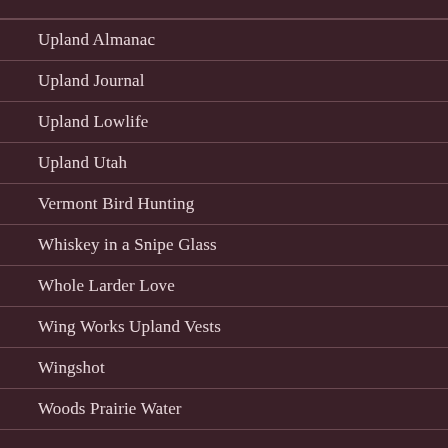Upland Almanac
Upland Journal
Upland Lowlife
Upland Utah
Vermont Bird Hunting
Whiskey in a Snipe Glass
Whole Larder Love
Wing Works Upland Vests
Wingshot
Woods Prairie Water